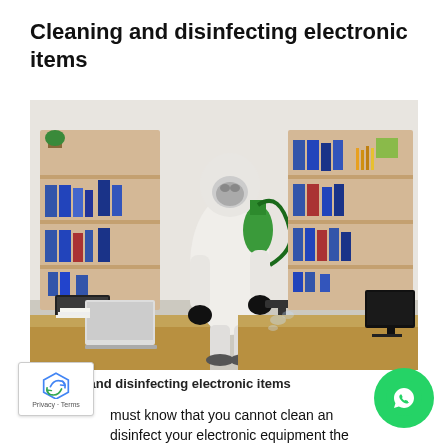Cleaning and disinfecting electronic items
[Figure (photo): A person in a white hazmat/protective suit with a green spray backpack, black gloves, and a mask/respirator, spraying disinfectant in an office environment. The office has wooden shelving units with binders and books on both sides, and a desk with a laptop, computer monitor, and stacked papers in the foreground.]
Cleaning and disinfecting electronic items
You must know that you cannot clean and disinfect your electronic equipment the same